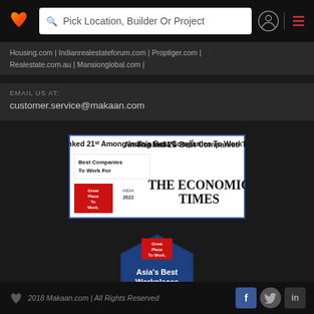Pick Location, Builder Or Project
Housing.com | Indianrealestateforum.com | Proptiger.com | Realestate.com.au | Mansionglobal.com |
EMAIL US AT:
customer.service@makaan.com
[Figure (infographic): Award badge: Ranked 21st Among India's Best Companies To Work For - The Economic Times, Great Place To Work, India 2022]
[Figure (infographic): Hexagonal badge: Great Place To Work - Asia's Best Workplaces 2021]
2018 Makaan.com | All Rights Reserved